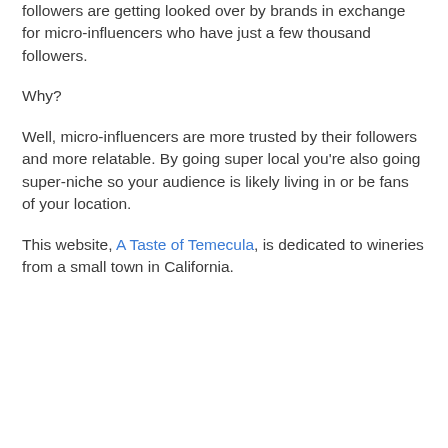followers are getting looked over by brands in exchange for micro-influencers who have just a few thousand followers.
Why?
Well, micro-influencers are more trusted by their followers and more relatable. By going super local you're also going super-niche so your audience is likely living in or be fans of your location.
This website, A Taste of Temecula, is dedicated to wineries from a small town in California.